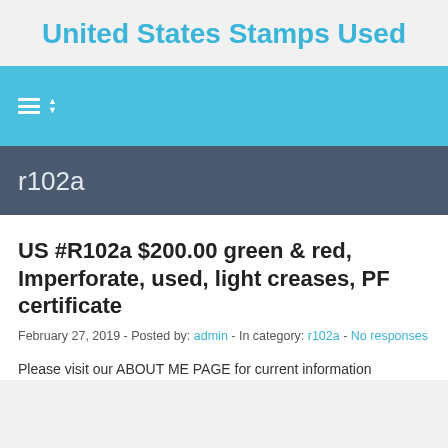United States Stamps Used
[Figure (other): Navigation bar with hamburger menu icon and sort arrows on blue background]
r102a
US #R102a $200.00 green & red, Imperforate, used, light creases, PF certificate
February 27, 2019 - Posted by: admin - In category: r102a - No responses
Please visit our ABOUT ME PAGE for current information